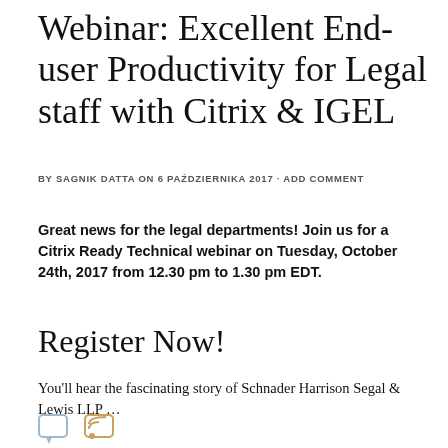Webinar: Excellent End-user Productivity for Legal staff with Citrix & IGEL
BY SAGNIK DATTA ON 6 PAŹDZIERNIKA 2017 · ADD COMMENT
Great news for the legal departments! Join us for a Citrix Ready Technical webinar on Tuesday, October 24th, 2017 from 12.30 pm to 1.30 pm EDT.
Register Now!
You'll hear the fascinating story of Schnader Harrison Segal & Lewis LLP …
[Figure (other): Two small icon images: a comment/speech bubble icon and an RSS feed icon]